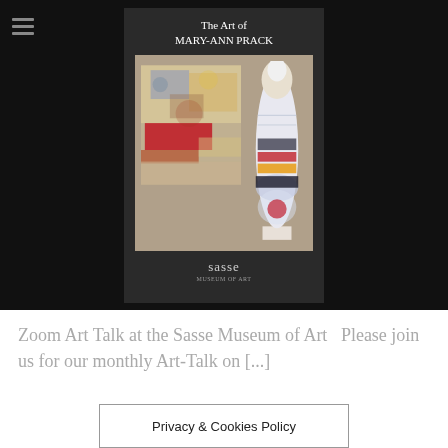[Figure (illustration): A dark-background event poster for 'The Art of Mary-Ann Prack' at Sasse Museum, showing an abstract painting and a tall decorative sculpture in a gallery setting]
Zoom Art Talk at the Sasse Museum of Art   Please join us for our monthly Art-Talk on [...]
Privacy & Cookies Policy